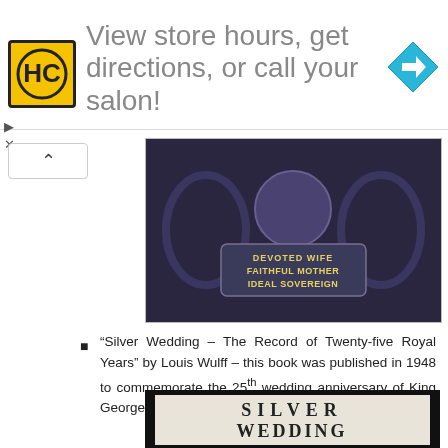[Figure (other): Advertisement banner with HC logo, text 'View store hours, get directions, or call your salon!' and a blue navigation arrow icon]
[Figure (photo): Photo of an old dark book cover with embossed text reading 'DEVOTED WIFE FAITHFUL MOTHER IDEAL SOVEREIGN']
“Silver Wedding – The Record of Twenty-five Royal Years” by Louis Wulff – this book was published in 1948 to commemorate the 25th wedding anniversary of King George VI and Queen Elizabeth.
[Figure (photo): Photo of the cover/dust jacket of 'SILVER WEDDING The Record of Twenty-five Royal Years' book]